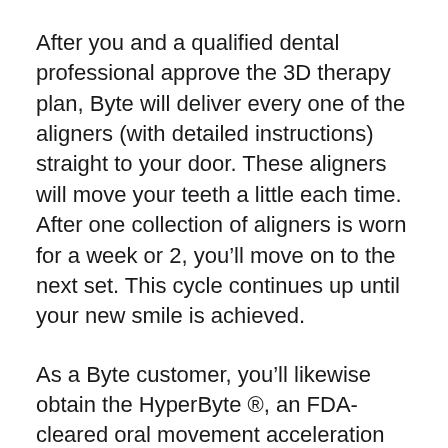After you and a qualified dental professional approve the 3D therapy plan, Byte will deliver every one of the aligners (with detailed instructions) straight to your door. These aligners will move your teeth a little each time. After one collection of aligners is worn for a week or 2, you’ll move on to the next set. This cycle continues up until your new smile is achieved.
As a Byte customer, you’ll likewise obtain the HyperByte ®, an FDA-cleared oral movement acceleration device. This gadget might help relocate teeth faster when utilized with your aligners for 5 mins per day.
Review our article comparing the positives